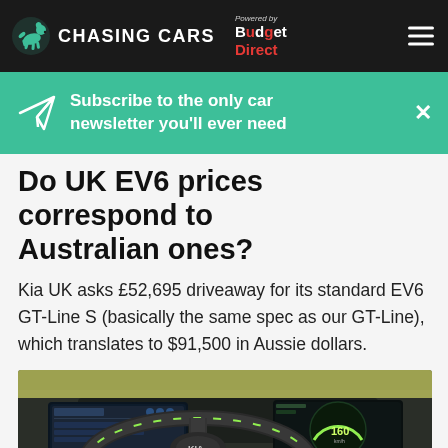CHASING CARS | Powered by Budget Direct
Subscribe to the only car newsletter you'll ever need
Do UK EV6 prices correspond to Australian ones?
Kia UK asks £52,695 driveaway for its standard EV6 GT-Line S (basically the same spec as our GT-Line), which translates to $91,500 in Aussie dollars.
[Figure (photo): Interior of Kia EV6 showing steering wheel with green accent stitching and dual curved display screens.]